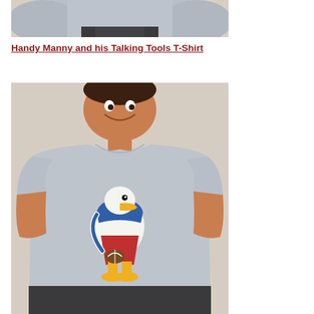[Figure (photo): Bottom portion of a child wearing a light gray T-shirt, cropped showing torso and arms against a beige background]
Handy Manny and his Talking Tools T-Shirt
[Figure (photo): A smiling boy wearing a light gray T-shirt featuring a Donald Duck football player graphic. Donald Duck is illustrated in a football uniform holding a ball, wearing red pants and a blue top.]